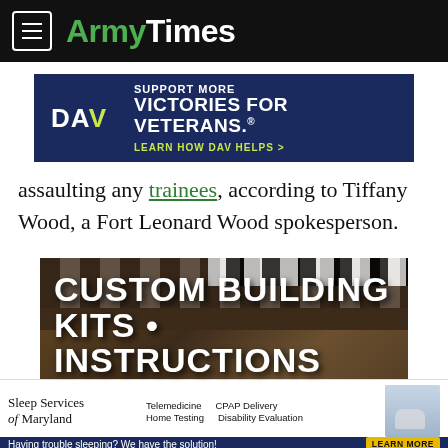ArmyTimes
[Figure (infographic): DAV advertisement: SUPPORT MORE VICTORIES FOR VETERANS. LEARN HOW DAV HELPS >]
assaulting any trainees, according to Tiffany Wood, a Fort Leonard Wood spokesperson.
[Figure (infographic): Custom Building Kits • Instructions advertisement showing model plane/vehicle kits]
[Figure (infographic): Sleep Services of Maryland advertisement: Telemedicine, Home Testing, CPAP Delivery, Disability Evaluation. Having trouble sleeping? We have the solution! LEARN MORE]